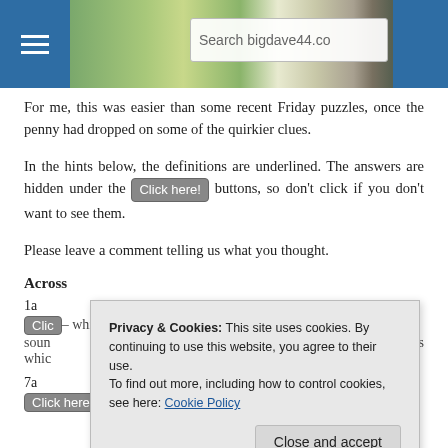[Figure (screenshot): Website header banner with navigation menu button on left (blue), landscape photo in center, search box reading 'Search bigdave44.co', and blue block on right.]
For me, this was easier than some recent Friday puzzles, once the penny had dropped on some of the quirkier clues.
In the hints below, the definitions are underlined. The answers are hidden under the [Click here!] buttons, so don't click if you don't want to see them.
Please leave a comment telling us what you thought.
Across
1a
[Click here!] – which soun- items whic
7a
[Click here!] – Hidden in the clue.
Privacy & Cookies: This site uses cookies. By continuing to use this website, you agree to their use.
To find out more, including how to control cookies, see here: Cookie Policy
Close and accept